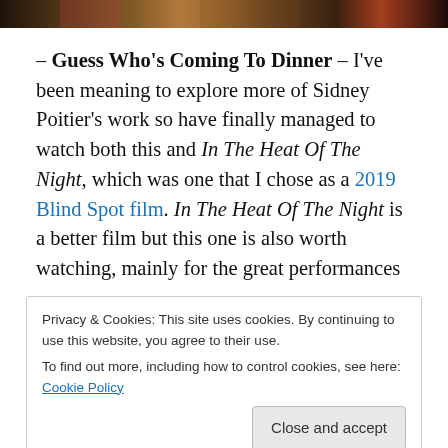[Figure (photo): Partial top strip of a photo, likely a film still from Guess Who's Coming To Dinner, showing dark and reddish tones]
– Guess Who's Coming To Dinner – I've been meaning to explore more of Sidney Poitier's work so have finally managed to watch both this and In The Heat Of The Night, which was one that I chose as a 2019 Blind Spot film. In The Heat Of The Night is a better film but this one is also worth watching, mainly for the great performances
Privacy & Cookies: This site uses cookies. By continuing to use this website, you agree to their use.
To find out more, including how to control cookies, see here: Cookie Policy
Close and accept
to seem dated now and people might find it slightly